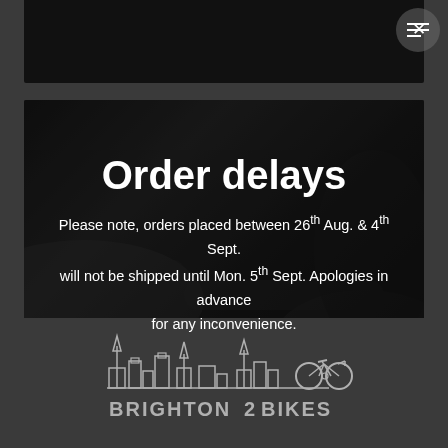[Figure (photo): Dark background top image area, partial view of a dark surface]
[Figure (photo): Dark bicycle handlebar close-up photo used as background for the order delays notice banner]
Order delays
Please note, orders placed between 26th Aug. & 4th Sept. will not be shipped until Mon. 5th Sept. Apologies in advance for any inconvenience.
[Figure (logo): Brighton 2 Bikes logo with city skyline silhouette and bicycle illustration, text reads BRIGHTON 2 BIKES]